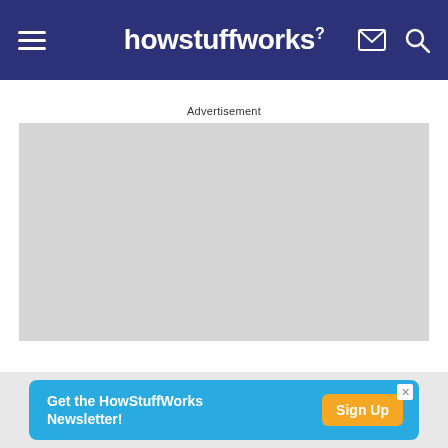howstuffworks
Advertisement
[Figure (other): Grey advertisement placeholder box]
Get the HowStuffWorks Newsletter! Sign Up